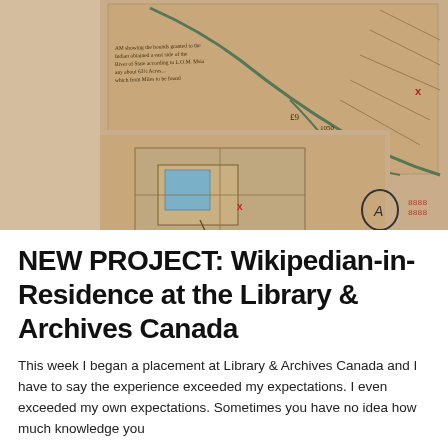[Figure (map): Two overlapping historical hand-drawn maps on aged paper/parchment. The upper map shows a long diagonal waterway or road with land divisions and handwritten annotations. The lower-left map shows a smaller plot plan with a blue rectangular structure. Both maps are on tan/brown aged paper with red stamp marks visible.]
NEW PROJECT: Wikipedian-in-Residence at the Library & Archives Canada
This week I began a placement at Library & Archives Canada and I have to say the experience exceeded my expectations. I even exceeded my own expectations. Sometimes you have no idea how much knowledge you